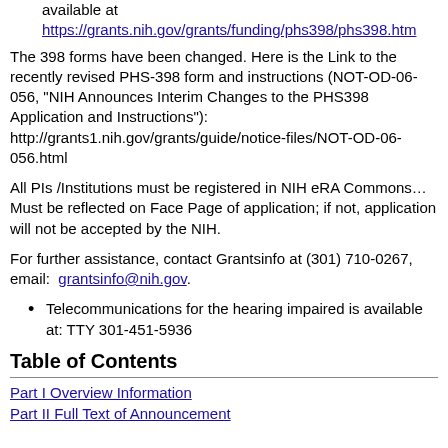available at https://grants.nih.gov/grants/funding/phs398/phs398.htm
The 398 forms have been changed. Here is the Link to the recently revised PHS-398 form and instructions (NOT-OD-06-056, "NIH Announces Interim Changes to the PHS398 Application and Instructions"): http://grants1.nih.gov/grants/guide/notice-files/NOT-OD-06-056.html
All PIs /Institutions must be registered in NIH eRA Commons…Must be reflected on Face Page of application; if not, application will not be accepted by the NIH.
For further assistance, contact Grantsinfo at (301) 710-0267, email: grantsinfo@nih.gov.
Telecommunications for the hearing impaired is available at: TTY 301-451-5936
Table of Contents
Part I Overview Information
Part II Full Text of Announcement